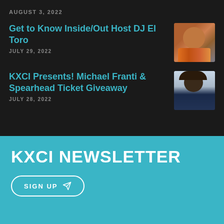AUGUST 3, 2022
Get to Know Inside/Out Host DJ El Toro
JULY 29, 2022
[Figure (photo): Photo of DJ El Toro, a man in a colorful shirt]
KXCI Presents! Michael Franti & Spearhead Ticket Giveaway
JULY 28, 2022
[Figure (photo): Photo of Michael Franti, person with hat raising hand]
KXCI NEWSLETTER
SIGN UP